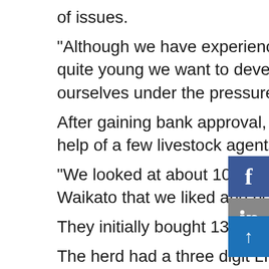of issues. “Although we have experience on big farms, while we are still quite young we want to develop ourselves more before we put ourselves under the pressure that big farms can give.” After gaining bank approval, they went herd shopping with the help of a few livestock agents. “We looked at about 10 herds and ended up finding one in the Waikato that we liked and bought them home.” They initially bought 134 mixed-age cows and 40 heifers. The herd had a three digit LIC herd code which means it was reasonably long-established; newer herds have a four digit code. “It was always a goal to buy a herd with good genetics, even if we had to wait another year.” Last season the herd produced 73,383kgMS, about 429kgMS per cow. Because of this year’s extreme wet, plus the summer drought, total production for this season is expected to